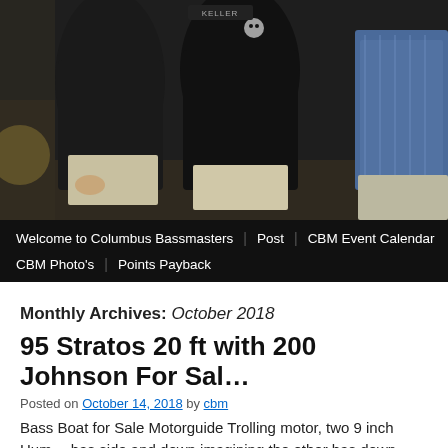[Figure (photo): Photo of people standing together, appears to be outdoors, partially cropped. Dark background with figures wearing dark shirts and light pants.]
Welcome to Columbus Bassmasters | Post | CBM Event Calendar | CBM Photo's | Points Payback
Monthly Archives: October 2018
95 Stratos 20 ft with 200 Johnson For Sal…
Posted on October 14, 2018 by cbm
Bass Boat for Sale Motorguide Trolling motor, two 9 inch Hum… has side and down imagining the other has down imagining…